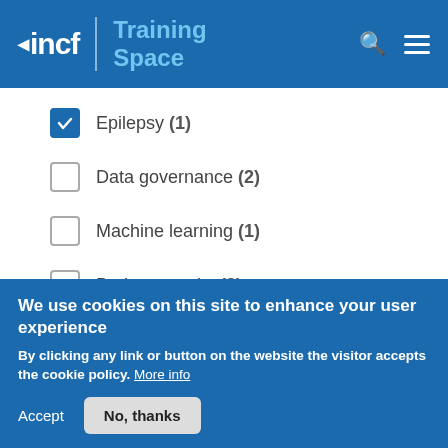incf | Training Space
Epilepsy (1) — checked
Data governance (2) — unchecked
Machine learning (1) — unchecked
Brain networks (2) — unchecked
Data management (1) — checked
Neuroimaging (7) — checked
Databases (1) — unchecked
We use cookies on this site to enhance your user experience
By clicking any link or button on the website the visitor accepts the cookie policy. More info
Accept | No, thanks